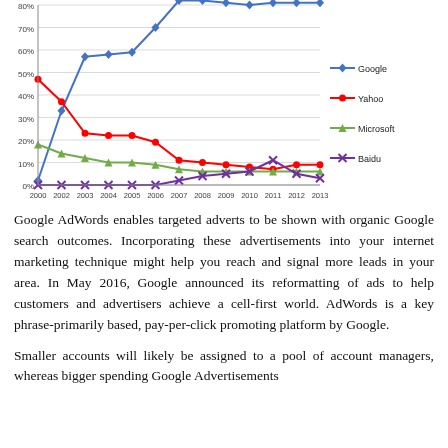[Figure (line-chart): Search Engine Market Share 2000-2013]
Google AdWords enables targeted adverts to be shown with organic Google search outcomes. Incorporating these advertisements into your internet marketing technique might help you reach and signal more leads in your area. In May 2016, Google announced its reformatting of ads to help customers and advertisers achieve a cell-first world. AdWords is a key phrase-primarily based, pay-per-click promoting platform by Google.
Smaller accounts will likely be assigned to a pool of account managers, whereas bigger spending Google Advertisements